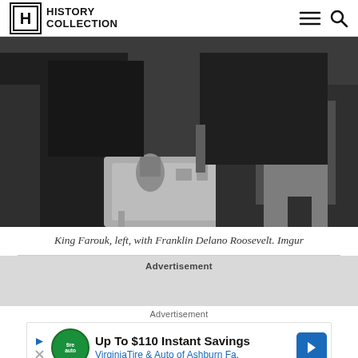HISTORY COLLECTION
[Figure (photo): Black and white photograph of King Farouk, left, seated with Franklin Delano Roosevelt. A tray with items is visible between them.]
King Farouk, left, with Franklin Delano Roosevelt. Imgur
Advertisement
Advertisement
[Figure (other): Advertisement banner: Up To $110 Instant Savings - VirginiaTire & Auto of Ashburn Fa.]